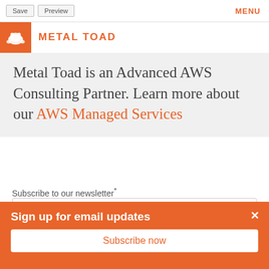Save | Preview | MENU
METAL TOAD
Metal Toad is an Advanced AWS Consulting Partner. Learn more about our AWS Managed Services
Subscribe to our newsletter*
Sign up
Sign up for email updates
Subscribe now